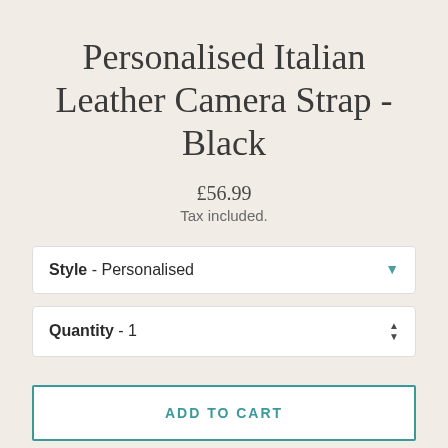Personalised Italian Leather Camera Strap - Black
£56.99
Tax included.
Style  -  Personalised
Quantity  -  1
ADD TO CART